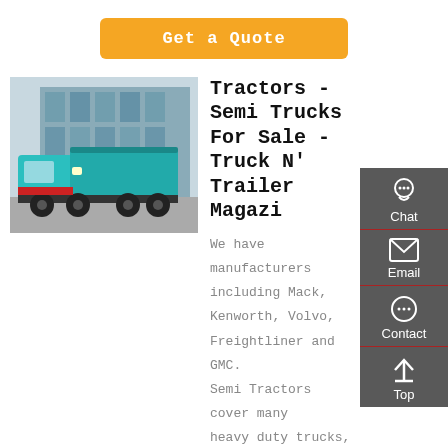Get a Quote
[Figure (photo): A teal/turquoise dump truck parked in front of a building with glass windows]
Tractors - Semi Trucks For Sale - Truck N' Trailer Magazine
We have manufacturers including Mack, Kenworth, Volvo, Freightliner and GMC. Semi Tractors cover many heavy duty trucks, including Day Cabs, Sleeper Cabs and Class 8